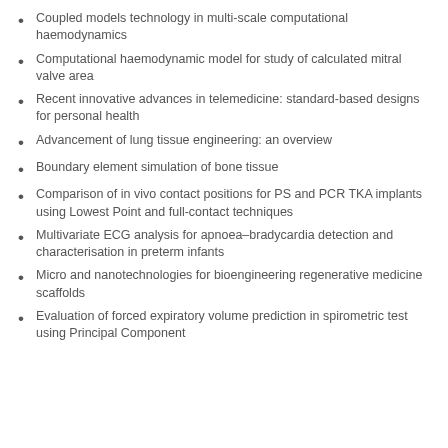Coupled models technology in multi-scale computational haemodynamics
Computational haemodynamic model for study of calculated mitral valve area
Recent innovative advances in telemedicine: standard-based designs for personal health
Advancement of lung tissue engineering: an overview
Boundary element simulation of bone tissue
Comparison of in vivo contact positions for PS and PCR TKA implants using Lowest Point and full-contact techniques
Multivariate ECG analysis for apnoea–bradycardia detection and characterisation in preterm infants
Micro and nanotechnologies for bioengineering regenerative medicine scaffolds
Evaluation of forced expiratory volume prediction in spirometric test using Principal Component